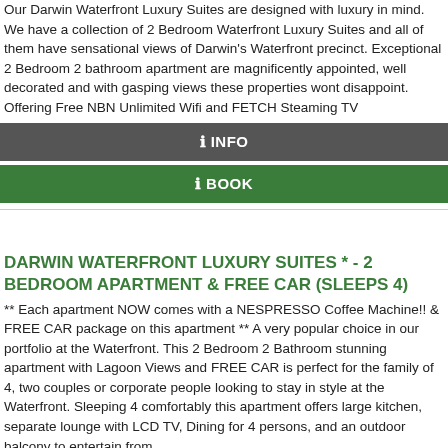Our Darwin Waterfront Luxury Suites are designed with luxury in mind. We have a collection of 2 Bedroom Waterfront Luxury Suites and all of them have sensational views of Darwin's Waterfront precinct. Exceptional 2 Bedroom 2 bathroom apartment are magnificently appointed, well decorated and with gasping views these properties wont disappoint. Offering Free NBN Unlimited Wifi and FETCH Steaming TV
ℹ INFO
ℹ BOOK
DARWIN WATERFRONT LUXURY SUITES * - 2 BEDROOM APARTMENT & FREE CAR (SLEEPS 4)
** Each apartment NOW comes with a NESPRESSO Coffee Machine!! & FREE CAR package on this apartment ** A very popular choice in our portfolio at the Waterfront. This 2 Bedroom 2 Bathroom stunning apartment with Lagoon Views and FREE CAR is perfect for the family of 4, two couples or corporate people looking to stay in style at the Waterfront. Sleeping 4 comfortably this apartment offers large kitchen, separate lounge with LCD TV, Dining for 4 persons, and an outdoor balcony to entertain from...